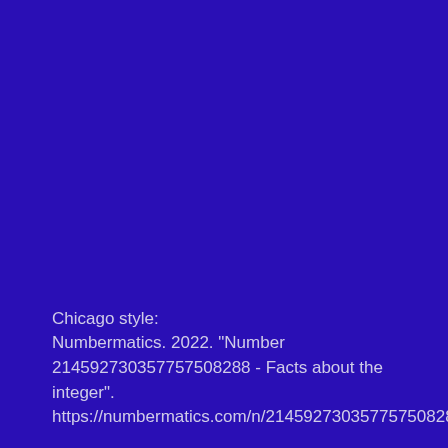Chicago style:
Numbermatics. 2022. "Number 214592730357757508288 - Facts about the integer". https://numbermatics.com/n/214592730357757508288/